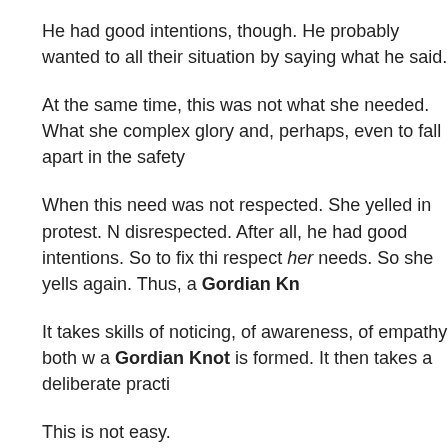He had good intentions, though. He probably wanted to all their situation by saying what he said.
At the same time, this was not what she needed. What she complex glory and, perhaps, even to fall apart in the safety
When this need was not respected. She yelled in protest. N disrespected. After all, he had good intentions. So to fix thi respect her needs. So she yells again. Thus, a Gordian Kn
It takes skills of noticing, of awareness, of empathy both w a Gordian Knot is formed. It then takes a deliberate practi
This is not easy.
At the same time, if you're willing, you can learn it through